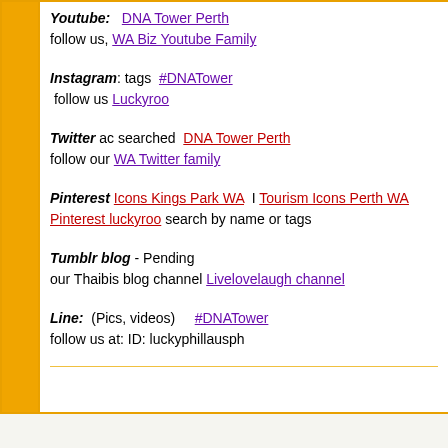Youtube: DNA Tower Perth
follow us, WA Biz Youtube Family
Instagram: tags #DNATower
follow us Luckyroo
Twitter ac searched DNA Tower Perth
follow our WA Twitter family
Pinterest Icons Kings Park WA | Tourism Icons Perth WA
Pinterest luckyroo search by name or tags
Tumblr blog - Pending
our Thaibis blog channel Livelovelaugh channel
Line: (Pics, videos) #DNATower
follow us at: ID: luckyphillausph